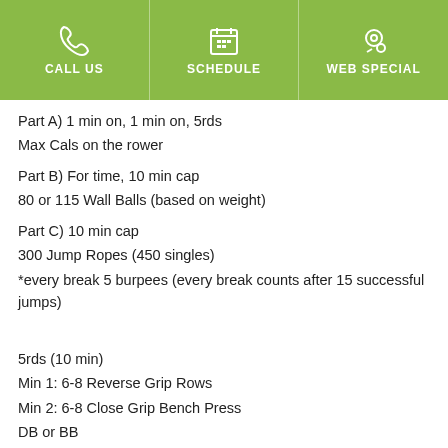CALL US | SCHEDULE | WEB SPECIAL
Part A) 1 min on, 1 min on, 5rds
Max Cals on the rower
Part B) For time, 10 min cap
80 or 115 Wall Balls (based on weight)
Part C) 10 min cap
300 Jump Ropes (450 singles)
*every break 5 burpees (every break counts after 15 successful jumps)
5rds (10 min)
Min 1: 6-8 Reverse Grip Rows
Min 2: 6-8 Close Grip Bench Press
DB or BB